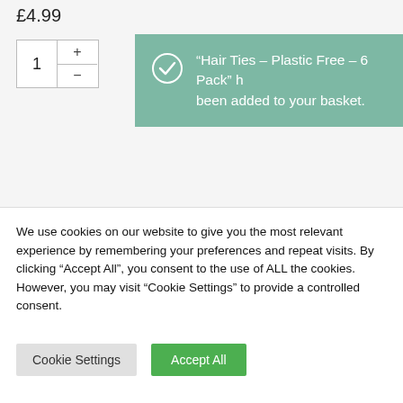£4.99
[Figure (other): Quantity selector box showing '1' with plus and minus buttons]
“Hair Ties – Plastic Free – 6 Pack” has been added to your basket.
We use cookies on our website to give you the most relevant experience by remembering your preferences and repeat visits. By clicking “Accept All”, you consent to the use of ALL the cookies. However, you may visit “Cookie Settings” to provide a controlled consent.
Cookie Settings
Accept All